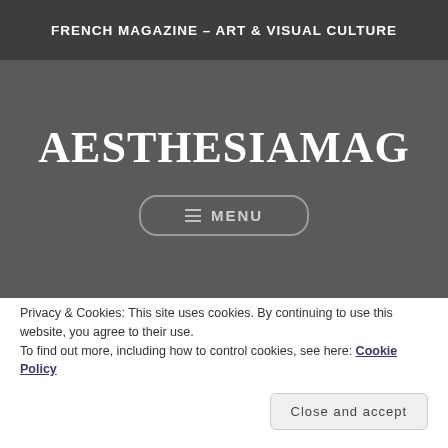FRENCH MAGAZINE – ART & VISUAL CULTURE
AESTHESIAMAG
≡ MENU
[Figure (photo): Dark blue-tinted artistic photo of a person's head with dark hair against black background]
Privacy & Cookies: This site uses cookies. By continuing to use this website, you agree to their use.
To find out more, including how to control cookies, see here: Cookie Policy
Close and accept